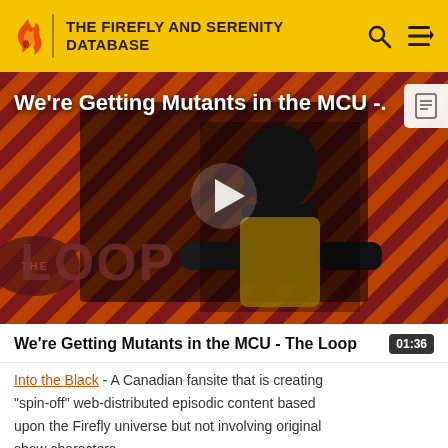THE FIREFLY AND SERENITY DATABASE
[Figure (screenshot): Video thumbnail showing a bald man in a suit seated in a chair, with diagonal red/orange striped background and 'THE LOOP' watermark text. A white play button triangle is centered on the image.]
We're Getting Mutants in the MCU - The Loop
01:36
Into the Black - A Canadian fansite that is creating "spin-off" web-distributed episodic content based upon the Firefly universe but not involving original show characters